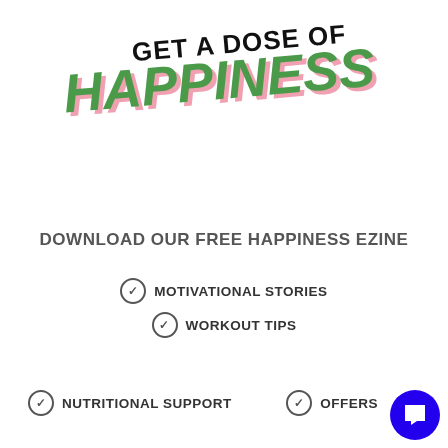GET A DOSE OF HAPPINESS
DOWNLOAD OUR FREE HAPPINESS EZINE
MOTIVATIONAL STORIES
WORKOUT TIPS
NUTRITIONAL SUPPORT
OFFERS